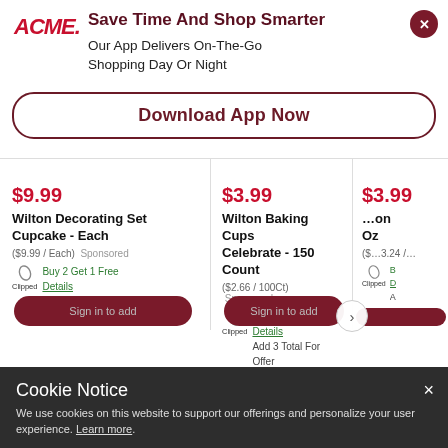[Figure (logo): ACME logo in red italic bold text]
Save Time And Shop Smarter
Our App Delivers On-The-Go Shopping Day Or Night
Download App Now
$9.99
Wilton Decorating Set Cupcake - Each
($9.99 / Each)   Sponsored
Buy 2 Get 1 Free
Details
Add 3 Total For Offer
$3.99
Wilton Baking Cups Celebrate - 150 Count
($2.66 / 100Ct)   Sponsored
Buy 2 Get 1 Free
Details
Add 3 Total For Offer
$3.99
Cookie Notice
We use cookies on this website to support our offerings and personalize your user experience. Learn more.